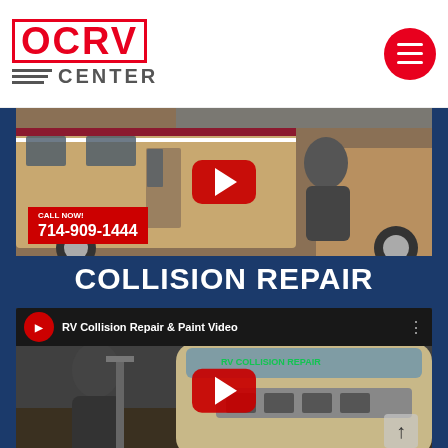[Figure (logo): OCRV Center logo with red text and gray horizontal lines beside CENTER text]
[Figure (screenshot): Video thumbnail of RV collision repair with man standing in front of RV, YouTube play button overlay, CALL NOW 714-909-1444 overlay]
COLLISION REPAIR
[Figure (screenshot): YouTube video player showing RV Collision Repair & Paint Video with man standing in front of large RV in repair shop, play button overlay]